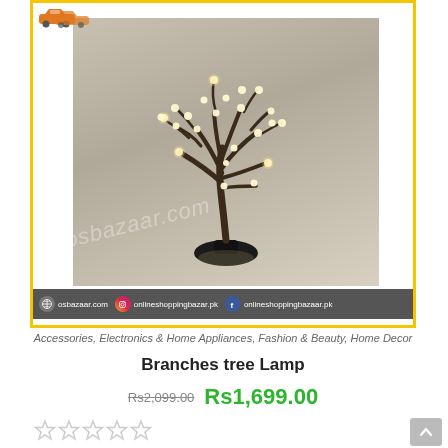[Figure (photo): Photo of a decorative branches tree lamp with LED lights on dark branches, mounted on a black circular base, against a gray background. Website watermark 'osbazaar.com' visible. Yellow border around the product card. Car icon visible at top left inside border.]
osbazaar.com  onlineshoppingbazar.pk  onlineshoppingbazaar.pk
Accessories, Electronics & Home Appliances, Fashion & Beauty, Home Decor
Branches tree Lamp
Rs2,099.00  Rs1,699.00
[Figure (other): Five star rating icons (hollow/outline stars)]